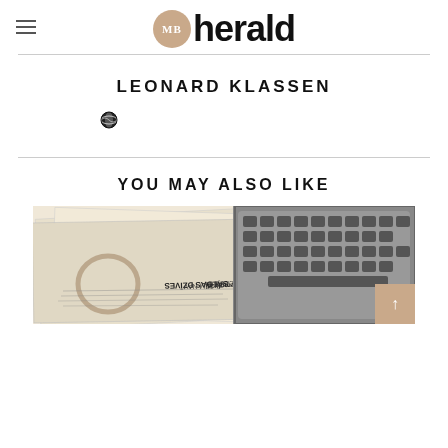MB herald
LEONARD KLASSEN
YOU MAY ALSO LIKE
[Figure (photo): Overhead photo of scattered newspapers with coffee ring stain and a laptop keyboard on the right side]